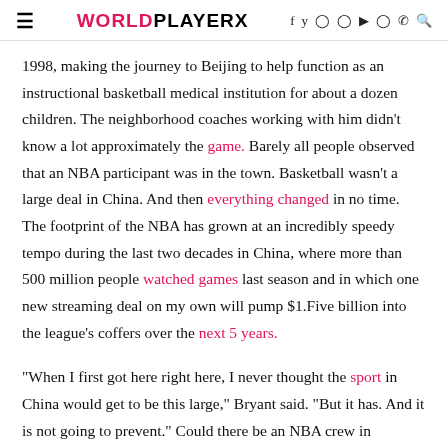WORLDPLAYERX
1998, making the journey to Beijing to help function as an instructional basketball medical institution for about a dozen children. The neighborhood coaches working with him didn't know a lot approximately the game. Barely all people observed that an NBA participant was in the town. Basketball wasn't a large deal in China. And then everything changed in no time. The footprint of the NBA has grown at an incredibly speedy tempo during the last two decades in China, where more than 500 million people watched games last season and in which one new streaming deal on my own will pump $1.Five billion into the league's coffers over the next 5 years.
"When I first got here right here, I never thought the sport in China would get to be this large," Bryant said. "But it has. And it is not going to prevent." Could there be an NBA crew in